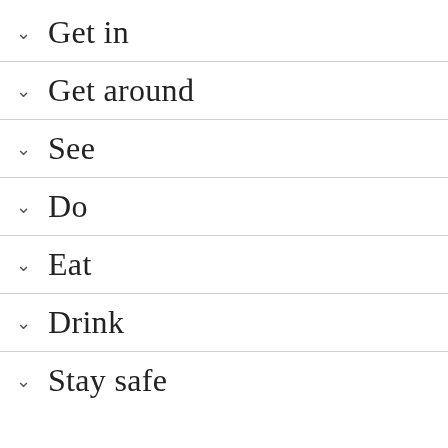Get in
Get around
See
Do
Eat
Drink
Stay safe